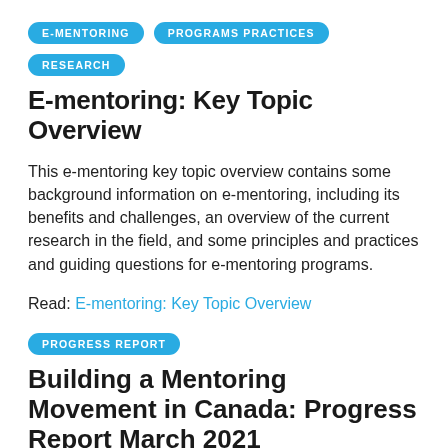E-MENTORING
PROGRAMS PRACTICES
RESEARCH
E-mentoring: Key Topic Overview
This e-mentoring key topic overview contains some background information on e-mentoring, including its benefits and challenges, an overview of the current research in the field, and some principles and practices and guiding questions for e-mentoring programs.
Read: E-mentoring: Key Topic Overview
PROGRESS REPORT
Building a Mentoring Movement in Canada: Progress Report March 2021